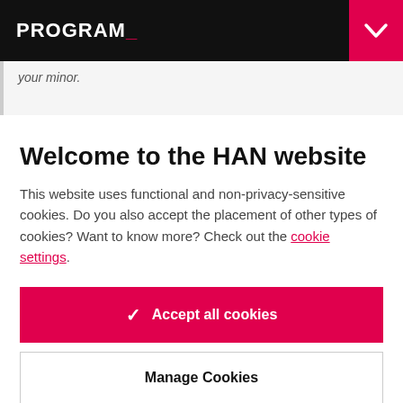PROGRAM_
your minor.
Welcome to the HAN website
This website uses functional and non-privacy-sensitive cookies. Do you also accept the placement of other types of cookies? Want to know more? Check out the cookie settings.
✓  Accept all cookies
Manage Cookies